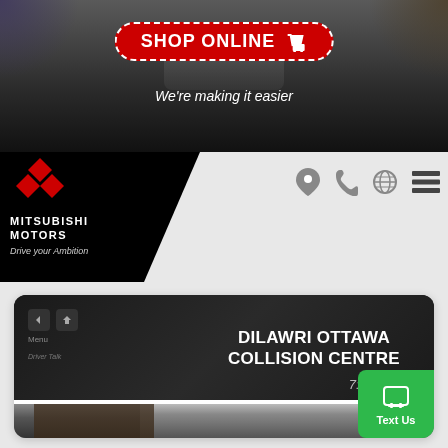[Figure (screenshot): Top banner with dark car interior background]
SHOP ONLINE
We're making it easier
[Figure (logo): Mitsubishi Motors logo with red diamond symbol and tagline Drive your Ambition]
[Figure (screenshot): Navigation icons: location pin, phone, globe, hamburger menu]
[Figure (screenshot): Dark banner showing car dashboard with text DILAWRI OTTAWA COLLISION CENTRE]
DILAWRI OTTAWA COLLISION CENTRE
[Figure (photo): Photo of mechanic working on a car, bottom strip]
Text Us